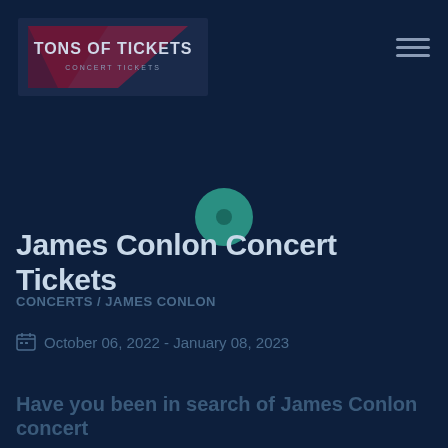[Figure (logo): Tons of Tickets logo - triangular shape with text TONS OF TICKETS on dark navy background]
James Conlon Concert Tickets
CONCERTS / JAMES CONLON
October 06, 2022 - January 08, 2023
Have you been in search of James Conlon concert